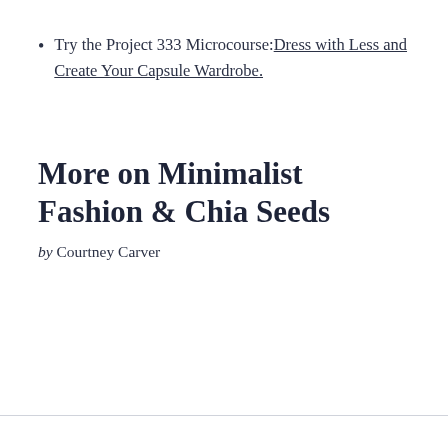Try the Project 333 Microcourse: Dress with Less and Create Your Capsule Wardrobe.
More on Minimalist Fashion & Chia Seeds
by Courtney Carver